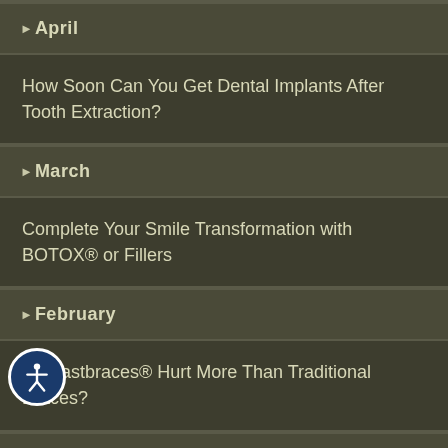▶April
How Soon Can You Get Dental Implants After Tooth Extraction?
▶March
Complete Your Smile Transformation with BOTOX® or Fillers
▶February
Do Fastbraces® Hurt More Than Traditional Braces?
▶January